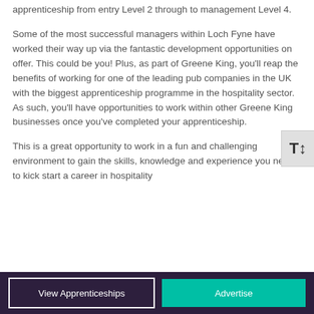apprenticeship from entry Level 2 through to management Level 4.
Some of the most successful managers within Loch Fyne have worked their way up via the fantastic development opportunities on offer. This could be you! Plus, as part of Greene King, you'll reap the benefits of working for one of the leading pub companies in the UK with the biggest apprenticeship programme in the hospitality sector. As such, you'll have opportunities to work within other Greene King businesses once you've completed your apprenticeship.
This is a great opportunity to work in a fun and challenging environment to gain the skills, knowledge and experience you need to kick start a career in hospitality
View Apprenticeships | Advertise